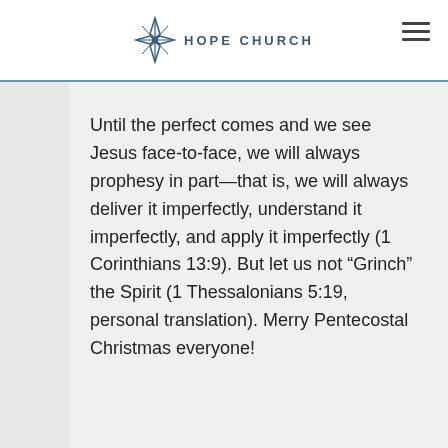HOPE CHURCH
Until the perfect comes and we see Jesus face-to-face, we will always prophesy in part—that is, we will always deliver it imperfectly, understand it imperfectly, and apply it imperfectly (1 Corinthians 13:9). But let us not “Grinch” the Spirit (1 Thessalonians 5:19, personal translation). Merry Pentecostal Christmas everyone!